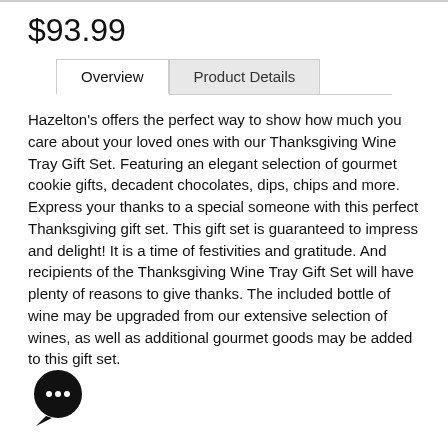$93.99
Overview | Product Details
Hazelton's offers the perfect way to show how much you care about your loved ones with our Thanksgiving Wine Tray Gift Set. Featuring an elegant selection of gourmet cookie gifts, decadent chocolates, dips, chips and more. Express your thanks to a special someone with this perfect Thanksgiving gift set. This gift set is guaranteed to impress and delight! It is a time of festivities and gratitude. And recipients of the Thanksgiving Wine Tray Gift Set will have plenty of reasons to give thanks. The included bottle of wine may be upgraded from our extensive selection of wines, as well as additional gourmet goods may be added to this gift set.
[Figure (illustration): Chat bubble icon with three dots, black circular speech bubble design]